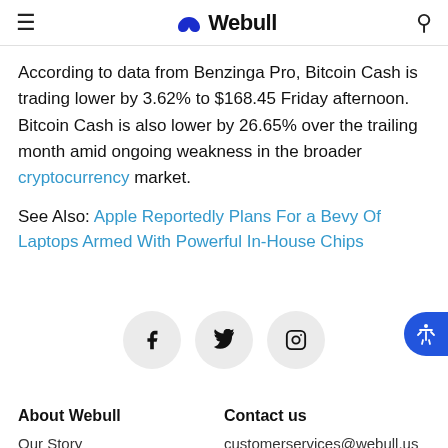≡  Webull  🔍
According to data from Benzinga Pro, Bitcoin Cash is trading lower by 3.62% to $168.45 Friday afternoon. Bitcoin Cash is also lower by 26.65% over the trailing month amid ongoing weakness in the broader cryptocurrency market.
See Also: Apple Reportedly Plans For a Bevy Of Laptops Armed With Powerful In-House Chips
[Figure (infographic): Social media icons: Facebook, Twitter, Instagram in circular grey buttons]
About Webull
Our Story
Contact us
customerservices@webull.us